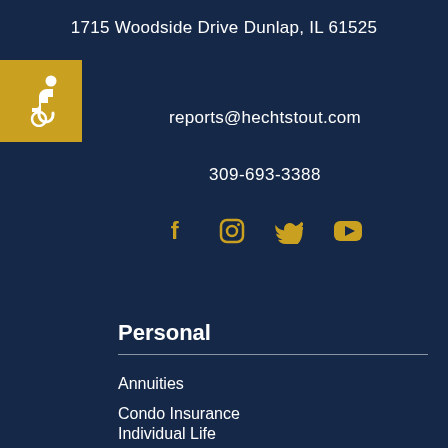1715 Woodside Drive Dunlap, IL 61525
[Figure (illustration): Accessibility wheelchair icon in gold/yellow square background]
reports@hechtstout.com
309-693-3388
[Figure (illustration): Social media icons: Facebook, Instagram, Twitter, YouTube in gold color]
Personal
Annuities
Condo Insurance
Individual Life